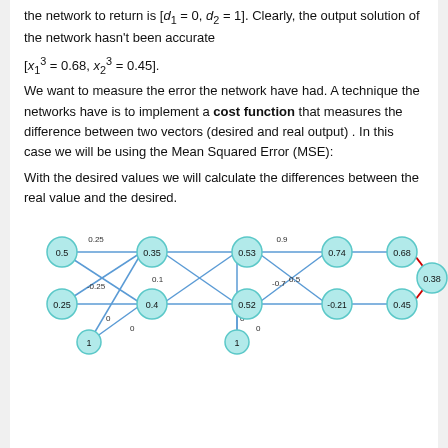the network to return is [d1 = 0, d2 = 1]. Clearly, the output solution of the network hasn't been accurate [x1^3 = 0.68, x2^3 = 0.45].
We want to measure the error the network have had. A technique the networks have is to implement a cost function that measures the difference between two vectors (desired and real output) . In this case we will be using the Mean Squared Error (MSE):
With the desired values we will calculate the differences between the real value and the desired.
[Figure (network-graph): Neural network diagram with two input nodes (0.5, 0.25), bias node (1), two hidden layer nodes (0.35, 0.1, 0.4), bias node (1), two more hidden nodes (0.53, 0.52), and output nodes (0.74, 0.3, -0.21, 0.68, 0.45). Connections are labeled with weights: 0.25, -0.25, 0.1, 0.9, -0.7, 0.5, 0, 0, 0, 0. Output nodes 0.68 and 0.38 connected with red lines, 0.45 connected normally.]